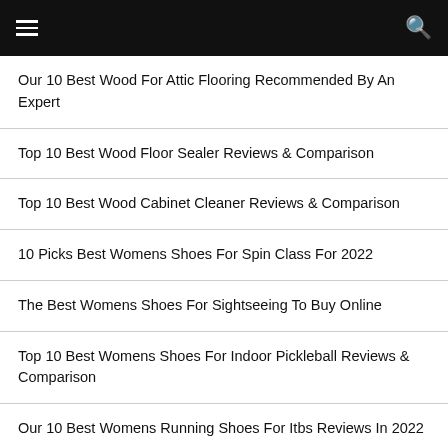Navigation bar with menu and search icons
Our 10 Best Wood For Attic Flooring Recommended By An Expert
Top 10 Best Wood Floor Sealer Reviews & Comparison
Top 10 Best Wood Cabinet Cleaner Reviews & Comparison
10 Picks Best Womens Shoes For Spin Class For 2022
The Best Womens Shoes For Sightseeing To Buy Online
Top 10 Best Womens Shoes For Indoor Pickleball Reviews & Comparison
Our 10 Best Womens Running Shoes For Itbs Reviews In 2022
Top 10 Best Womens Powerlifting Shoes Reviews & Comparison